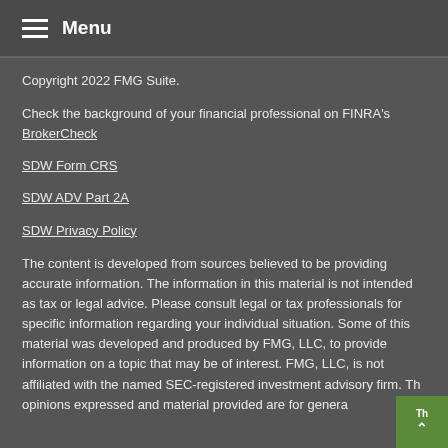Menu
Copyright 2022 FMG Suite.
Check the background of your financial professional on FINRA's BrokerCheck
SDW Form CRS
SDW ADV Part 2A
SDW Privacy Policy
The content is developed from sources believed to be providing accurate information. The information in this material is not intended as tax or legal advice. Please consult legal or tax professionals for specific information regarding your individual situation. Some of this material was developed and produced by FMG, LLC, to provide information on a topic that may be of interest. FMG, LLC, is not affiliated with the named SEC-registered investment advisory firm. The opinions expressed and material provided are for genera